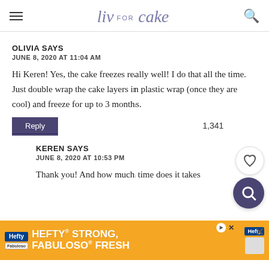liv for cake
OLIVIA SAYS
JUNE 8, 2020 AT 11:04 AM

Hi Keren! Yes, the cake freezes really well! I do that all the time. Just double wrap the cake layers in plastic wrap (once they are cool) and freeze for up to 3 months.
Reply   1,341
KEREN SAYS
JUNE 8, 2020 AT 10:53 PM

Thank you! And how much time does it takes
[Figure (infographic): Hefty brand advertisement banner: HEFTY STRONG, FABULOSO FRESH]
[Figure (other): Heart (like) button overlay and search button overlay on right side]